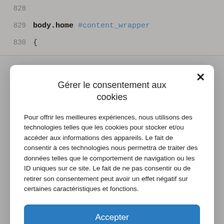[Figure (screenshot): Code editor background showing CSS lines 828-830 with line numbers, body.home #content_wrapper selector]
Gérer le consentement aux cookies
Pour offrir les meilleures expériences, nous utilisons des technologies telles que les cookies pour stocker et/ou accéder aux informations des appareils. Le fait de consentir à ces technologies nous permettra de traiter des données telles que le comportement de navigation ou les ID uniques sur ce site. Le fait de ne pas consentir ou de retirer son consentement peut avoir un effet négatif sur certaines caractéristiques et fonctions.
Accepter
Refuser
Voir les préférences